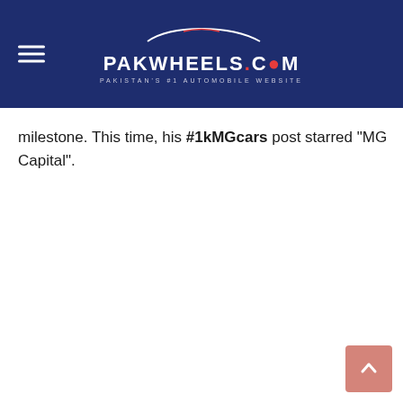PakWheels.com — Pakistan's #1 Automobile Website
milestone. This time, his #1kMGcars post starred "MG Capital".